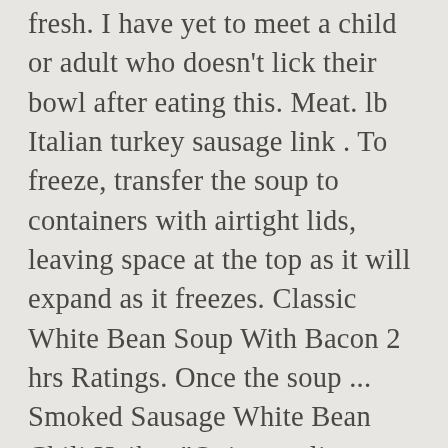fresh. I have yet to meet a child or adult who doesn't lick their bowl after eating this. Meat. lb Italian turkey sausage link . To freeze, transfer the soup to containers with airtight lids, leaving space at the top as it will expand as it freezes. Classic White Bean Soup With Bacon 2 hrs Ratings. Once the soup ... Smoked Sausage White Bean Chili Haiku: "Onion garlic too. Drain as much of the fat as you can. Greek Revithatha Chickpea Stew 4 hrs Ratings. Get White Bean and Sausage Soup Recipe from Food Network. 1 Onion, large. tablespoons olive oil, divided . Stir in the red pepper flakes, oregano, chicken broth, milk, and half and half. One thing that I love about this white bean & sausage soup is it's